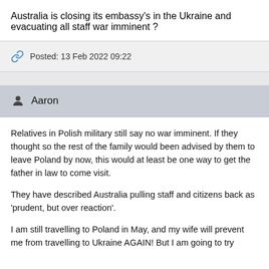Australia is closing its embassy's in the Ukraine and evacuating all staff war imminent ?
Posted: 13 Feb 2022 09:22
Aaron
Relatives in Polish military still say no war imminent. If they thought so the rest of the family would been advised by them to leave Poland by now, this would at least be one way to get the father in law to come visit.
They have described Australia pulling staff and citizens back as 'prudent, but over reaction'.
I am still travelling to Poland in May, and my wife will prevent me from travelling to Ukraine AGAIN! But I am going to try